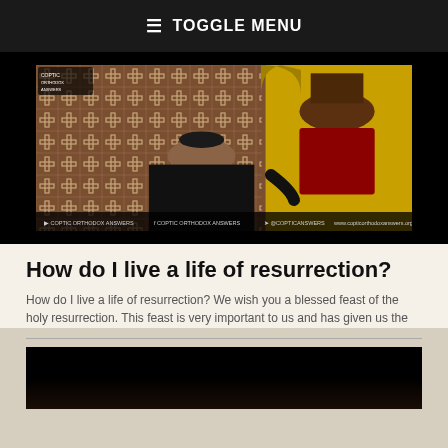≡ TOGGLE MENU
[Figure (photo): Video thumbnail showing a Coptic Orthodox priest in black robes speaking, with a decorative cross-patterned background and a religious icon of Christ on the right side. Social media handles shown at the bottom of the video frame.]
How do I live a life of resurrection?
How do I live a life of resurrection? We wish you a blessed feast of the holy resurrection. This feast is very important to us and has given us the
[Figure (photo): Partial video thumbnail at the bottom of the page, mostly black with a dark scene beginning to appear at the very bottom edge.]